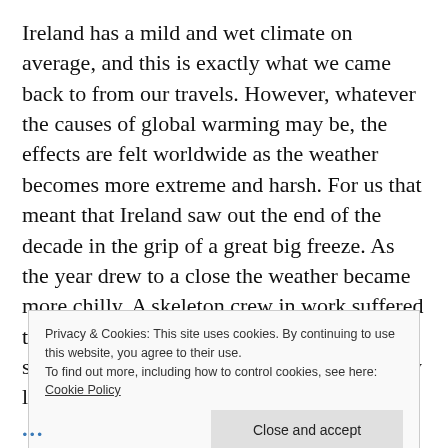Ireland has a mild and wet climate on average, and this is exactly what we came back to from our travels. However, whatever the causes of global warming may be, the effects are felt worldwide as the weather becomes more extreme and harsh. For us that meant that Ireland saw out the end of the decade in the grip of a great big freeze. As the year drew to a close the weather became more chilly. A skeleton crew in work suffered through to Christmas Eve as the temperature steadily dropped. With much relief we finally locked up the office and
Privacy & Cookies: This site uses cookies. By continuing to use this website, you agree to their use.
To find out more, including how to control cookies, see here: Cookie Policy
Close and accept
...